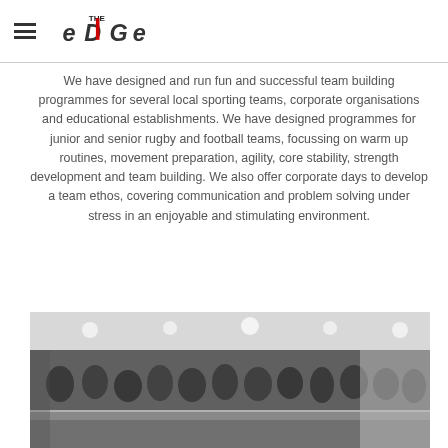[Figure (logo): The Edge fitness/sports logo - stylized text 'eDGe' with 'THE' above the D, bold black lettering]
We have designed and run fun and successful team building programmes for several local sporting teams, corporate organisations and educational establishments. We have designed programmes for junior and senior rugby and football teams, focussing on warm up routines, movement preparation, agility, core stability, strength development and team building. We also offer corporate days to develop a team ethos, covering communication and problem solving under stress in an enjoyable and stimulating environment.
[Figure (photo): Black and white photograph of a large group of people seated in an indoor venue, appearing to be at a team building or corporate event.]